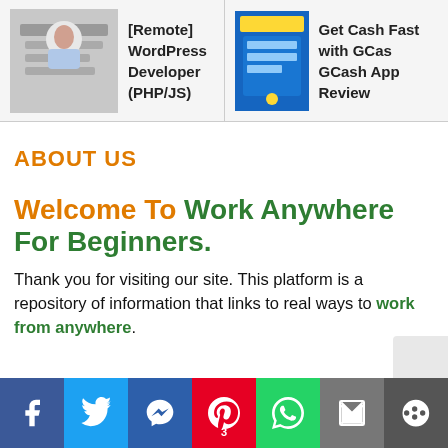[Remote] WordPress Developer (PHP/JS)
Get Cash Fast with GCash - GCash App Review
ABOUT US
Welcome To Work Anywhere For Beginners.
Thank you for visiting our site. This platform is a repository of information that links to real ways to work from anywhere.